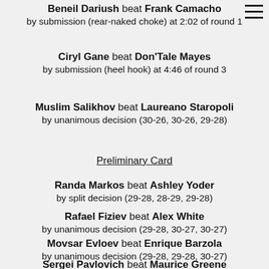Beneil Dariush beat Frank Camacho by submission (rear-naked choke) at 2:02 of round 1
Ciryl Gane beat Don'Tale Mayes by submission (heel hook) at 4:46 of round 3
Muslim Salikhov beat Laureano Staropoli by unanimous decision (30-26, 30-26, 29-28)
Preliminary Card
Randa Markos beat Ashley Yoder by split decision (29-28, 28-29, 29-28)
Rafael Fiziev beat Alex White by unanimous decision (29-28, 30-27, 30-27)
Movsar Evloev beat Enrique Barzola by unanimous decision (29-28, 29-28, 30-27)
Sergei Pavlovich beat Maurice Greene by TKO (punches) at 2:11 of round 1